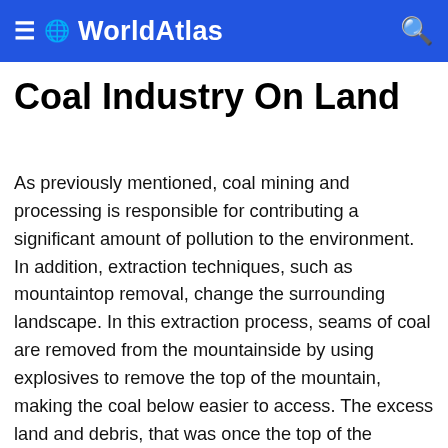≡ 🌐 WorldAtlas 🔍
Coal Industry On Land
As previously mentioned, coal mining and processing is responsible for contributing a significant amount of pollution to the environment. In addition, extraction techniques, such as mountaintop removal, change the surrounding landscape. In this extraction process, seams of coal are removed from the mountainside by using explosives to remove the top of the mountain, making the coal below easier to access. The excess land and debris, that was once the top of the mountain, is generally pushed into the valley below, a practice known as valley fill. This permanently alters the topography of the land, leading to obstructed waterways and increased flooding.